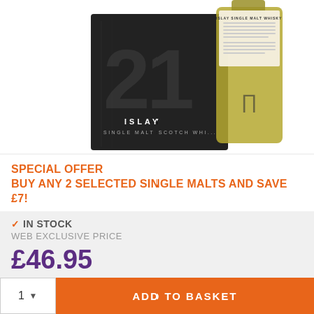[Figure (photo): Product photo of Islay Single Malt Scotch Whisky bottle next to black gift box with '21' text design, white background]
SPECIAL OFFER
BUY ANY 2 SELECTED SINGLE MALTS AND SAVE £7!
✓ IN STOCK
WEB EXCLUSIVE PRICE
£46.95
£39.13 ex VAT
ADD TO BASKET